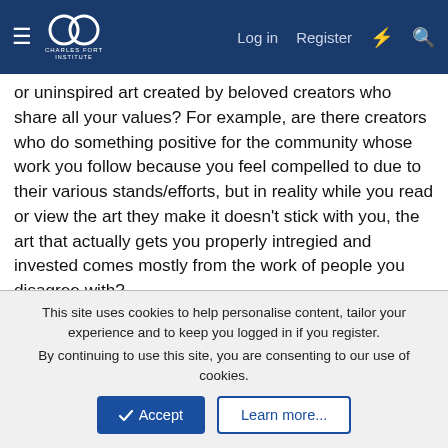Charles Fort Institute — Log in | Register
or uninspired art created by beloved creators who share all your values? For example, are there creators who do something positive for the community whose work you follow because you feel compelled to due to their various stands/efforts, but in reality while you read or view the art they make it doesn't stick with you, the art that actually gets you properly intregied and invested comes mostly from the work of people you disagree with?
Last edited: May 11, 2022
Victory, Coal, Fenn Lost and 1 other person
Fenn Lost
Fresh Blood
This site uses cookies to help personalise content, tailor your experience and to keep you logged in if you register.
By continuing to use this site, you are consenting to our use of cookies.